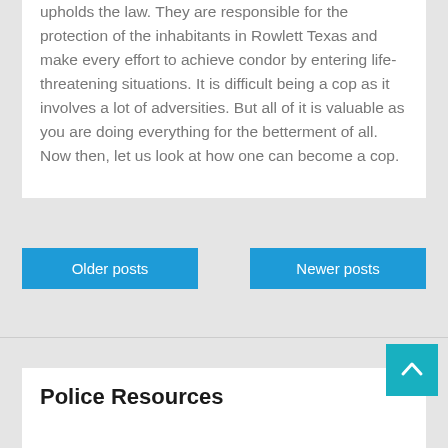upholds the law. They are responsible for the protection of the inhabitants in Rowlett Texas and make every effort to achieve condor by entering life-threatening situations. It is difficult being a cop as it involves a lot of adversities. But all of it is valuable as you are doing everything for the betterment of all. Now then, let us look at how one can become a cop.
Older posts
Newer posts
Police Resources